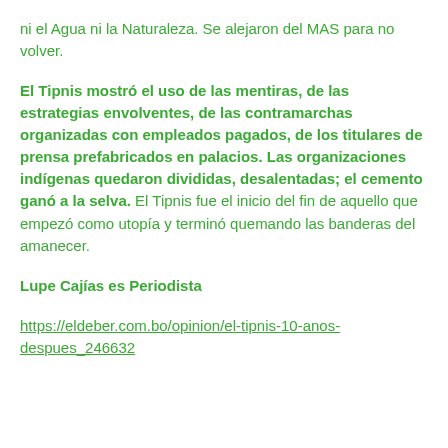ni el Agua ni la Naturaleza. Se alejaron del MAS para no volver.
El Tipnis mostró el uso de las mentiras, de las estrategias envolventes, de las contramarchas organizadas con empleados pagados, de los titulares de prensa prefabricados en palacios. Las organizaciones indígenas quedaron divididas, desalentadas; el cemento ganó a la selva. El Tipnis fue el inicio del fin de aquello que empezó como utopía y terminó quemando las banderas del amanecer.
Lupe Cajías es Periodista
https://eldeber.com.bo/opinion/el-tipnis-10-anos-despues_246632